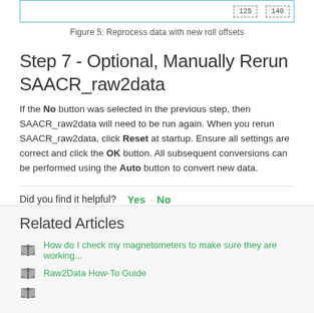[Figure (screenshot): Top strip showing a UI element with two boxes labeled '125' and '140' with dashed border, inside a blue-bordered panel.]
Figure 5: Reprocess data with new roll offsets
Step 7 - Optional, Manually Rerun SAACR_raw2data
If the No button was selected in the previous step, then SAACR_raw2data will need to be run again. When you rerun SAACR_raw2data, click Reset at startup. Ensure all settings are correct and click the OK button. All subsequent conversions can be performed using the Auto button to convert new data.
Did you find it helpful? Yes · No
Related Articles
How do I check my magnetometers to make sure they are working...
Raw2Data How-To Guide